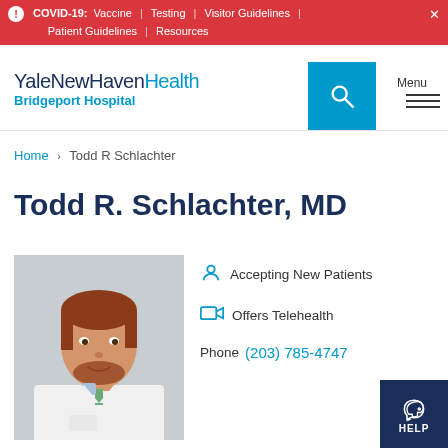COVID-19: Vaccine | Testing | Visitor Guidelines | Patient Guidelines | Resources
[Figure (logo): YaleNewHavenHealth Bridgeport Hospital logo with search button and menu]
Home > Todd R Schlachter
Todd R. Schlachter, MD
[Figure (photo): Professional headshot of Dr. Todd R. Schlachter in white coat]
Accepting New Patients
Offers Telehealth
Phone (203) 785-4747